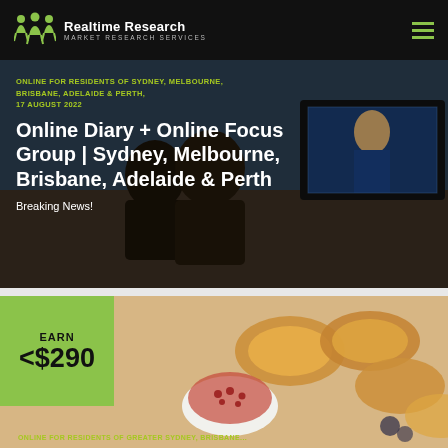[Figure (logo): Realtime Research Market Research Services logo with green icon and white text on black nav bar]
[Figure (photo): Hero image showing couple watching TV news in a dark room, overlaid with white title text and yellow-green tag text]
ONLINE FOR RESIDENTS OF SYDNEY, MELBOURNE, BRISBANE, ADELAIDE & PERTH, 17 AUGUST 2022
Online Diary + Online Focus Group | Sydney, Melbourne, Brisbane, Adelaide & Perth
Breaking News!
[Figure (photo): Photo of croissants and pastries on a table with earn badge overlay showing EARN <$290]
EARN <$290
ONLINE FOR RESIDENTS OF GREATER SYDNEY, BRISBANE...